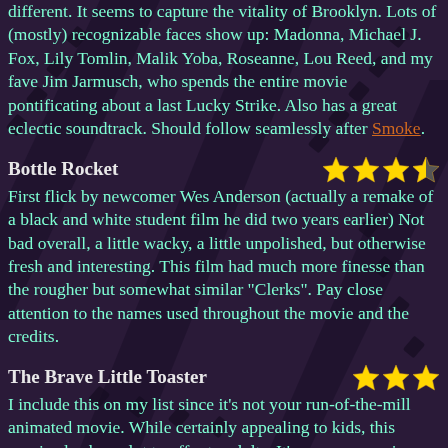different. It seems to capture the vitality of Brooklyn. Lots of (mostly) recognizable faces show up: Madonna, Michael J. Fox, Lily Tomlin, Malik Yoba, Roseanne, Lou Reed, and my fave Jim Jarmusch, who spends the entire movie pontificating about a last Lucky Strike. Also has a great eclectic soundtrack. Should follow seamlessly after Smoke.
Bottle Rocket
First flick by newcomer Wes Anderson (actually a remake of a black and white student film he did two years earlier) Not bad overall, a little wacky, a little unpolished, but otherwise fresh and interesting. This film had much more finesse than the rougher but somewhat similar "Clerks". Pay close attention to the names used throughout the movie and the credits.
The Brave Little Toaster
I include this on my list since it's not your run-of-the-mill animated movie. While certainly appealing to kids, this movie also has a lot to offer to adults. It's an encompasing metaphor about age, abandonment, and usefulness -- unfortunately fueled by the over-used plot